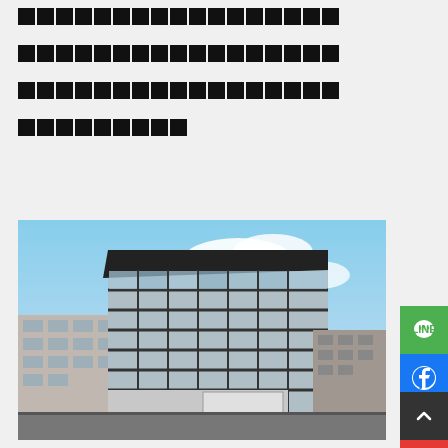████████████████████████████████████████████████████████████████████████████████
[Figure (photo): Exterior architectural rendering of a modern multi-story commercial/residential building with glass curtain wall facade, dark framing, on an urban street corner with nearby buildings and blue sky.]